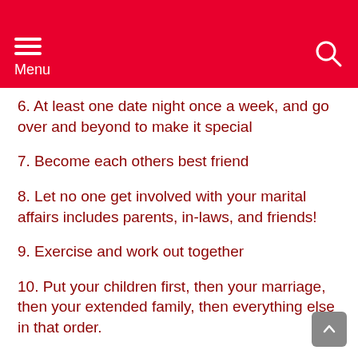Menu
6. At least one date night once a week, and go over and beyond to make it special
7. Become each others best friend
8. Let no one get involved with your marital affairs includes parents, in-laws, and friends!
9. Exercise and work out together
10. Put your children first, then your marriage, then your extended family, then everything else in that order.